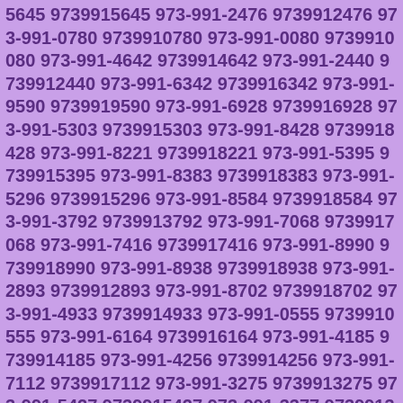5645 9739915645 973-991-2476 9739912476 973-991-0780 9739910780 973-991-0080 9739910080 973-991-4642 9739914642 973-991-2440 9739912440 973-991-6342 9739916342 973-991-9590 9739919590 973-991-6928 9739916928 973-991-5303 9739915303 973-991-8428 9739918428 973-991-8221 9739918221 973-991-5395 9739915395 973-991-8383 9739918383 973-991-5296 9739915296 973-991-8584 9739918584 973-991-3792 9739913792 973-991-7068 9739917068 973-991-7416 9739917416 973-991-8990 9739918990 973-991-8938 9739918938 973-991-2893 9739912893 973-991-8702 9739918702 973-991-4933 9739914933 973-991-0555 9739910555 973-991-6164 9739916164 973-991-4185 9739914185 973-991-4256 9739914256 973-991-7112 9739917112 973-991-3275 9739913275 973-991-5427 9739915427 973-991-3377 9739913377 973-991-8110 9739918110 973-991-6509 9739916509 973-991-9364 9739919364 973-991-6393 9739916393 973-991-9283 9739919283 973-991-2283 9739912283 973-991-3754 9739913754 973-991-3215 9739913215 973-991-2998 9739912998 973-991-2246 9739912246 973-991-